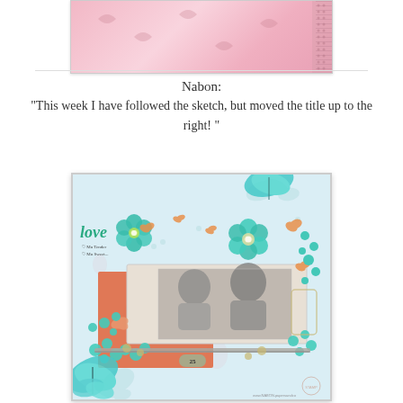[Figure (photo): Partial view of a pink scrapbook page with floral/lace pattern and dotted border on the right edge]
Nabon:
"This week I have followed the sketch, but moved the title up to the right! "
[Figure (photo): Decorative scrapbook layout featuring teal and coral/orange flowers, butterfly embellishments, black-and-white photo of two children, 'love' text, and various decorative elements on a light blue patterned background. Number '25' badge visible at bottom center.]